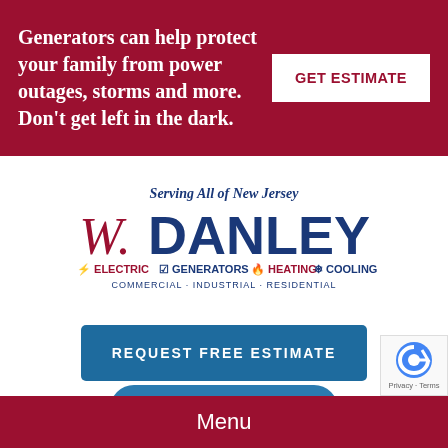Generators can help protect your family from power outages, storms and more. Don't get left in the dark.
GET ESTIMATE
[Figure (logo): W. Danley logo with tagline 'Serving All of New Jersey' and services: Electric, Generators, Heating, Cooling. Commercial - Industrial - Residential]
REQUEST FREE ESTIMATE
CONTACT US
Menu